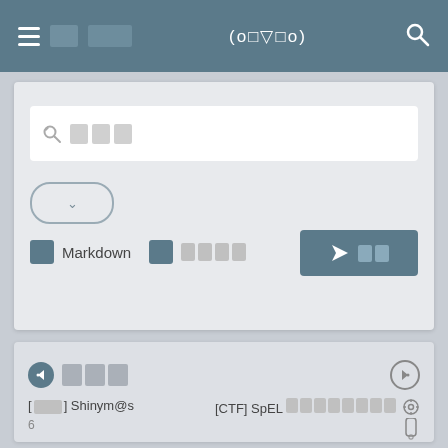(o□▽□o)
[Figure (screenshot): Search input box with key icon and placeholder squares]
[Figure (screenshot): Dropdown pill button with chevron down]
Markdown  □□□□
[Figure (screenshot): Submit/send button with paper plane icon]
[Figure (screenshot): Navigation row with back arrow circle, placeholder text squares, and forward circle]
[  ] Shinym@s   [CTF] SpEL □□□□□□□□
6